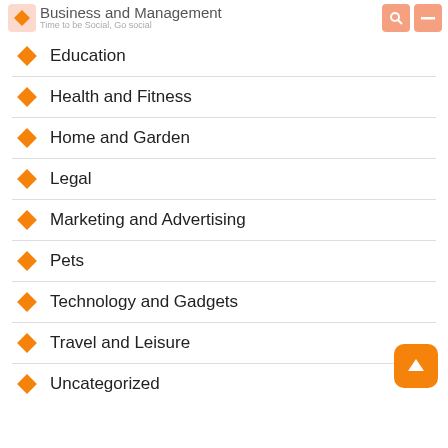Business and Management
Time to be Social, Go social
Education
Health and Fitness
Home and Garden
Legal
Marketing and Advertising
Pets
Technology and Gadgets
Travel and Leisure
Uncategorized